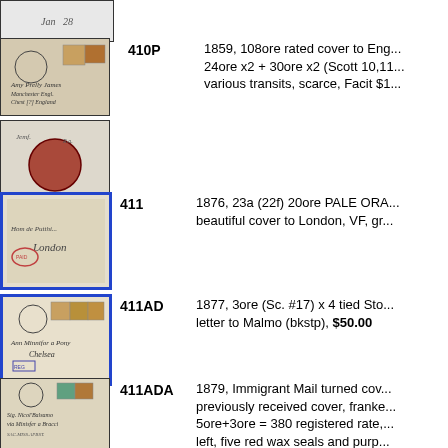[Figure (photo): Partial view of a philatelic cover at top of page]
[Figure (photo): Philatelic cover with stamps, black border]
410P  1859, 108ore rated cover to Eng... 24ore x2 + 30ore x2 (Scott 10,11... various transits, scarce, Facit $1...
[Figure (photo): Philatelic cover with red wax seal, black border]
[Figure (photo): Philatelic cover addressed to London, blue border]
411  1876, 23a (22f) 20ore PALE ORA... beautiful cover to London, VF, gr...
[Figure (photo): Philatelic cover with stamps, blue border]
411AD  1877, 3ore (Sc. #17) x 4 tied Sto... letter to Malmo (bkstp), $50.00
[Figure (photo): Philatelic cover with stamps, black border, partially visible]
411ADA  1879, Immigrant Mail turned cov... previously received cover, franke... 5ore+3ore = 380 registered rate,... left, five red wax seals and purp...